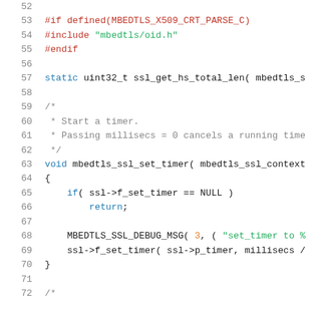[Figure (screenshot): Source code snippet in C showing preprocessor directives, a static function declaration, and a void function mbedtls_ssl_set_timer with line numbers 52-72.]